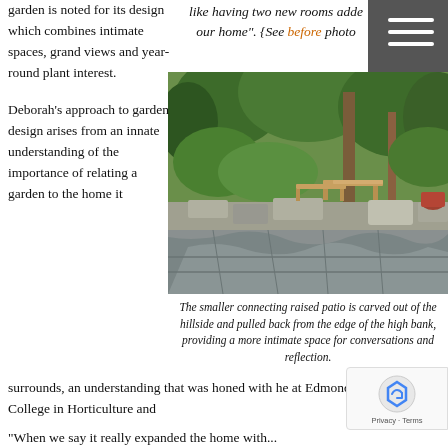garden is noted for its design which combines intimate spaces, grand views and year-round plant interest.
like having two new rooms added to our home". {See before photo
[Figure (photo): Outdoor garden patio with stone walls, flagstone flooring, wooden benches, and lush green trees in background]
The smaller connecting raised patio is carved out of the hillside and pulled back from the edge of the high bank, providing a more intimate space for conversations and reflection.
Deborah's approach to garden design arises from an innate understanding of the importance of relating a garden to the home it surrounds, an understanding that was honed with he at Edmonds Community College in Horticulture and
"When we say it really expanded the home with...